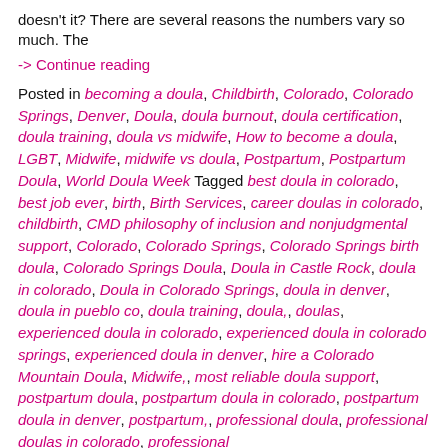doesn't it? There are several reasons the numbers vary so much. The
-> Continue reading
Posted in becoming a doula, Childbirth, Colorado, Colorado Springs, Denver, Doula, doula burnout, doula certification, doula training, doula vs midwife, How to become a doula, LGBT, Midwife, midwife vs doula, Postpartum, Postpartum Doula, World Doula Week Tagged best doula in colorado, best job ever, birth, Birth Services, career doulas in colorado, childbirth, CMD philosophy of inclusion and nonjudgmental support, Colorado, Colorado Springs, Colorado Springs birth doula, Colorado Springs Doula, Doula in Castle Rock, doula in colorado, Doula in Colorado Springs, doula in denver, doula in pueblo co, doula training, doula,, doulas, experienced doula in colorado, experienced doula in colorado springs, experienced doula in denver, hire a Colorado Mountain Doula, Midwife,, most reliable doula support, postpartum doula, postpartum doula in colorado, postpartum doula in denver, postpartum,, professional doula, professional doulas in colorado, professional